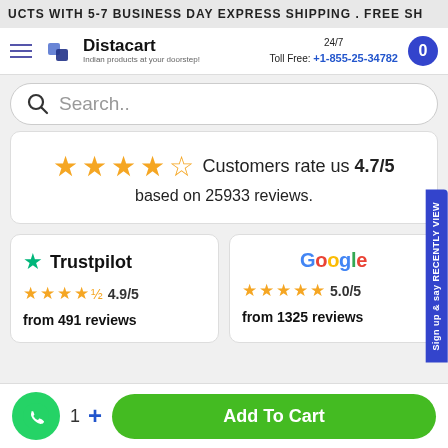UCTS WITH 5-7 BUSINESS DAY EXPRESS SHIPPING . FREE SH
[Figure (screenshot): Distacart website navigation bar with hamburger menu, logo, 24/7 Toll Free number +1-855-25-34782, and cart button showing 0]
[Figure (screenshot): Search bar with magnifying glass icon and placeholder text 'Search..']
★★★★☆ Customers rate us 4.7/5 based on 25933 reviews.
[Figure (logo): Trustpilot logo with green star, rating 4.9/5 from 491 reviews]
[Figure (logo): Google logo with rating 5.0/5 from 1325 reviews]
[Figure (screenshot): Bottom bar with WhatsApp button, quantity selector showing 1 and plus button, and green Add To Cart button]
Sign up & say RECENTLY VIEW